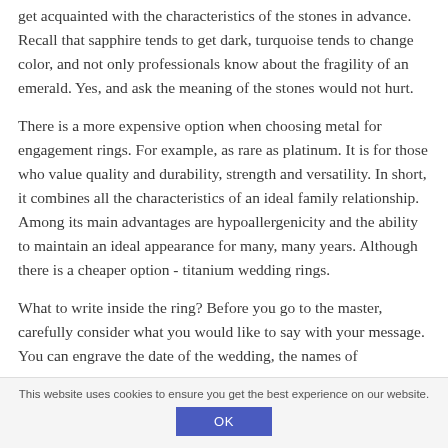get acquainted with the characteristics of the stones in advance. Recall that sapphire tends to get dark, turquoise tends to change color, and not only professionals know about the fragility of an emerald. Yes, and ask the meaning of the stones would not hurt.
There is a more expensive option when choosing metal for engagement rings. For example, as rare as platinum. It is for those who value quality and durability, strength and versatility. In short, it combines all the characteristics of an ideal family relationship. Among its main advantages are hypoallergenicity and the ability to maintain an ideal appearance for many, many years. Although there is a cheaper option - titanium wedding rings.
What to write inside the ring? Before you go to the master, carefully consider what you would like to say with your message. You can engrave the date of the wedding, the names of
This website uses cookies to ensure you get the best experience on our website.